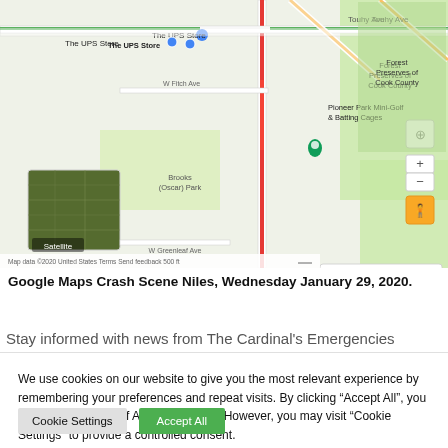[Figure (screenshot): Google Maps screenshot showing Niles area with roads, Pioneer Park Mini-Golf & Batting Cages, Brooks (Oscar) Park, Saint Andrew Life Center, Forest Preserves of Cook County, CVS, UPS Store, live traffic overlay, satellite thumbnail, and map controls.]
Google Maps Crash Scene Niles, Wednesday January 29, 2020.
Stay informed with news from The Cardinal's Emergencies
We use cookies on our website to give you the most relevant experience by remembering your preferences and repeat visits. By clicking “Accept All”, you consent to the use of ALL the cookies. However, you may visit “Cookie Settings” to provide a controlled consent.